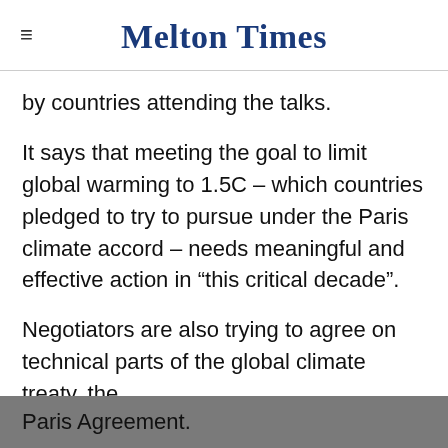Melton Times
by countries attending the talks.
It says that meeting the goal to limit global warming to 1.5C – which countries pledged to try to pursue under the Paris climate accord – needs meaningful and effective action in “this critical decade”.
Negotiators are also trying to agree on technical parts of the global climate treaty, the Paris Agreement.